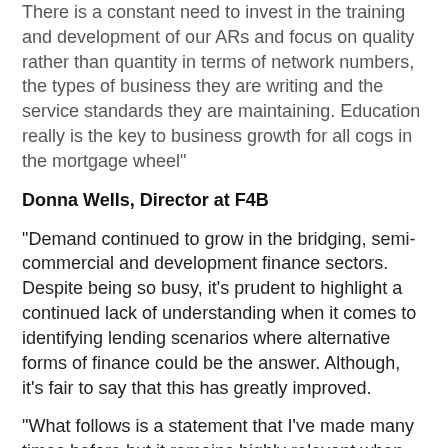There is a constant need to invest in the training and development of our ARs and focus on quality rather than quantity in terms of network numbers, the types of business they are writing and the service standards they are maintaining. Education really is the key to business growth for all cogs in the mortgage wheel"
Donna Wells, Director at F4B
"Demand continued to grow in the bridging, semi-commercial and development finance sectors. Despite being so busy, it's prudent to highlight a continued lack of understanding when it comes to identifying lending scenarios where alternative forms of finance could be the answer. Although, it's fair to say that this has greatly improved.
"What follows is a statement that I've made many times before but it remains highly relevant when